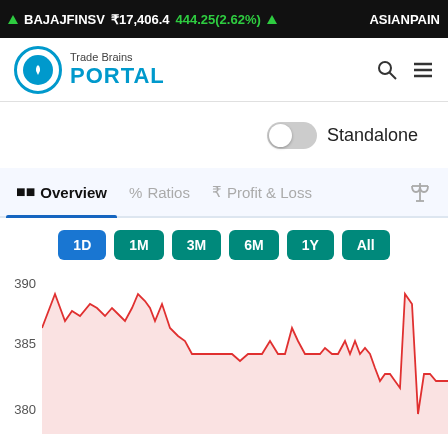BAJAJFINSV ₹17,406.4 444.25(2.62%) ▲ ASIANPAIN
[Figure (logo): Trade Brains PORTAL logo with circular icon]
Standalone (toggle off)
Overview | Ratios | Profit & Loss
[Figure (area-chart): Intraday stock price area chart showing price between ~378-390, red line with pink fill]